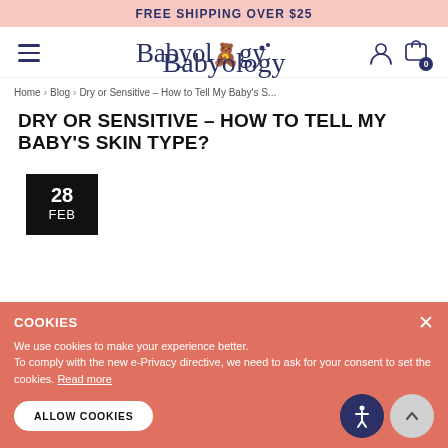FREE SHIPPING OVER $25
[Figure (logo): Babyology logo with hamburger menu, user icon, and cart icon showing 0 items]
Home > Blog > Dry or Sensitive – How to Tell My Baby's S...
DRY OR SENSITIVE – HOW TO TELL MY BABY'S SKIN TYPE?
28 FEB
COOKIES
We use cookies to make your experience better.
To comply with the new e-Privacy directive, we need to ask for your consent to set the cookies. Read more
ALLOW COOKIES